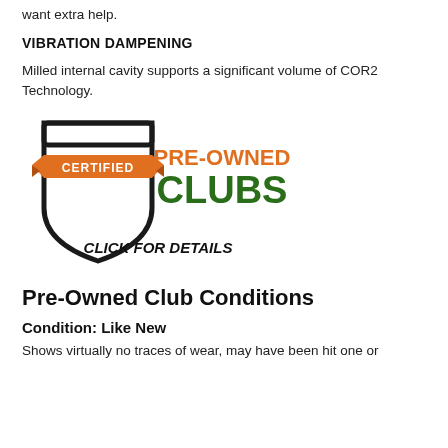want extra help.
VIBRATION DAMPENING
Milled internal cavity supports a significant volume of COR2 Technology.
[Figure (logo): Certified Pre-Owned Clubs logo with shield shape and 'CLICK FOR DETAILS' text below]
Pre-Owned Club Conditions
Condition: Like New
Shows virtually no traces of wear, may have been hit one or